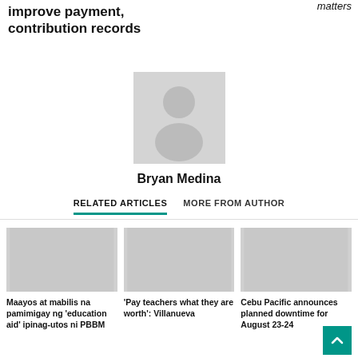improve payment, contribution records
matters
[Figure (illustration): Generic user avatar placeholder — grey silhouette of a person on light grey background]
Bryan Medina
RELATED ARTICLES   MORE FROM AUTHOR
[Figure (photo): Placeholder image for article: Maayos at mabilis na pamimigay ng 'education aid' ipinag-utos ni PBBM]
Maayos at mabilis na pamimigay ng 'education aid' ipinag-utos ni PBBM
[Figure (photo): Placeholder image for article: 'Pay teachers what they are worth': Villanueva]
'Pay teachers what they are worth': Villanueva
[Figure (photo): Placeholder image for article: Cebu Pacific announces planned downtime for August 23-24]
Cebu Pacific announces planned downtime for August 23-24